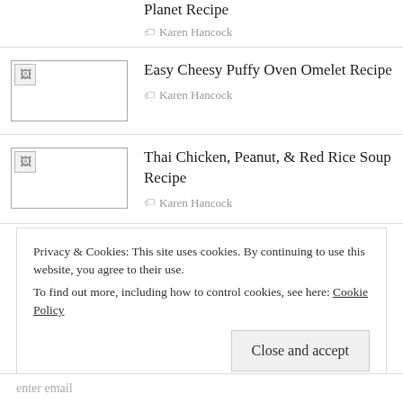Planet Recipe
Karen Hancock
Easy Cheesy Puffy Oven Omelet Recipe
Karen Hancock
Thai Chicken, Peanut, & Red Rice Soup Recipe
Karen Hancock
Privacy & Cookies: This site uses cookies. By continuing to use this website, you agree to their use.
To find out more, including how to control cookies, see here: Cookie Policy
Close and accept
enter email